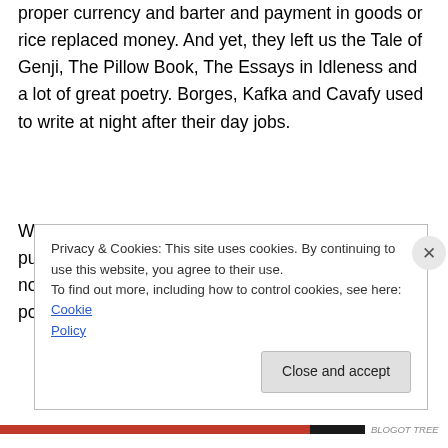read and write at most, there was not even a proper currency and barter and payment in goods or rice replaced money. And yet, they left us the Tale of Genji, The Pillow Book, The Essays in Idleness and a lot of great poetry. Borges, Kafka and Cavafy used to write at night after their day jobs.
WordPress and Blogger provide free platforms to publish and be read. A blog could be used to write a novel in an original way. For example, the first dozen posts (the latest in time) will be dull
Privacy & Cookies: This site uses cookies. By continuing to use this website, you agree to their use.
To find out more, including how to control cookies, see here: Cookie Policy